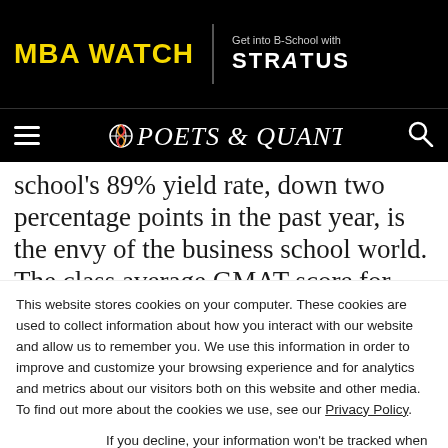MBA WATCH | Get into B-School with STRATUS
[Figure (logo): Poets & Quants logo with navigation hamburger menu and search icon on black background]
school's 89% yield rate, down two percentage points in the past year, is the envy of the business school world. The class average GMAT score for
This website stores cookies on your computer. These cookies are used to collect information about how you interact with our website and allow us to remember you. We use this information in order to improve and customize your browsing experience and for analytics and metrics about our visitors both on this website and other media. To find out more about the cookies we use, see our Privacy Policy.
If you decline, your information won't be tracked when you visit this website. A single cookie will be used in your browser to remember your preference not to be tracked.